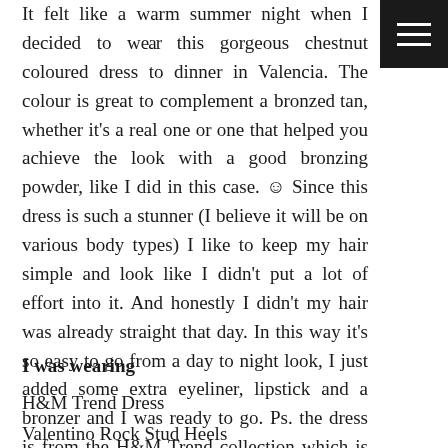It felt like a warm summer night when I decided to wear this gorgeous chestnut coloured dress to dinner in Valencia. The colour is great to complement a bronzed tan, whether it's a real one or one that helped you achieve the look with a good bronzing powder, like I did in this case. ☺ Since this dress is such a stunner (I believe it will be on various body types) I like to keep my hair simple and look like I didn't put a lot of effort into it. And honestly I didn't my hair was already straight that day. In this way it's so easy to go from a day to night look, I just added some extra eyeliner, lipstick and a bronzer and I was ready to go. Ps. the dress is from the H&M Trend collection which is only sold at some locations.
I was wearing
H&M Trend Dress
Valentino Rock Stud Heels